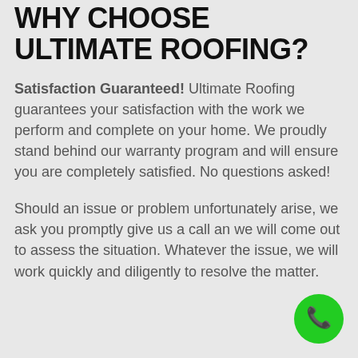WHY CHOOSE ULTIMATE ROOFING?
Satisfaction Guaranteed! Ultimate Roofing guarantees your satisfaction with the work we perform and complete on your home. We proudly stand behind our warranty program and will ensure you are completely satisfied. No questions asked!
Should an issue or problem unfortunately arise, we ask you promptly give us a call an we will come out to assess the situation. Whatever the issue, we will work quickly and diligently to resolve the matter.
[Figure (illustration): Green circular phone/call button in bottom right corner]